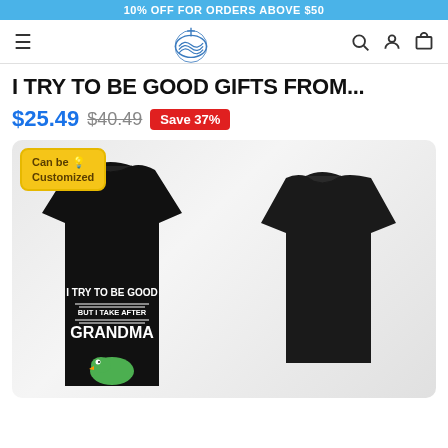10% OFF FOR ORDERS ABOVE $50
[Figure (logo): Store logo: wave/anchor icon with cross, navigation bar with hamburger menu, search, account, and cart icons]
I TRY TO BE GOOD GIFTS FROM...
$25.49  $40.49  Save 37%
[Figure (photo): Product photo showing two black t-shirts (front and back). Front shirt shows text 'I TRY TO BE GOOD BUT I TAKE AFTER GRANDMA' with dinosaur graphic. A 'Can be Customized' badge overlays top-left corner.]